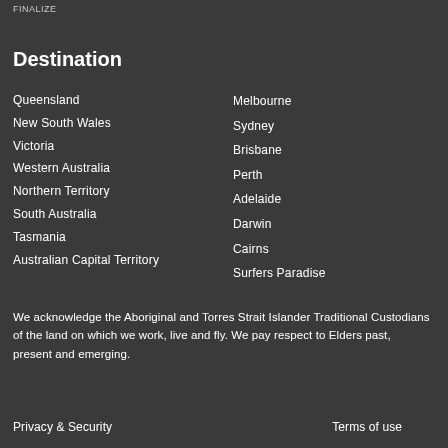FINALIZE
Destination
Queensland
New South Wales
Victoria
Western Australia
Northern Territory
South Australia
Tasmania
Australian Capital Territory
Melbourne
Sydney
Brisbane
Perth
Adelaide
Darwin
Cairns
Surfers Paradise
We acknowledge the Aboriginal and Torres Strait Islander Traditional Custodians of the land on which we work, live and fly. We pay respect to Elders past, present and emerging.
Privacy & Security   Terms of use